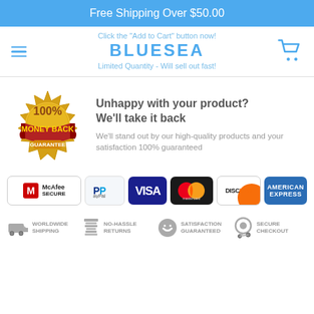Free Shipping Over $50.00
Click the "Add to Cart" button now!
BLUESEA
Limited Quantity - Will sell out fast!
[Figure (illustration): 100% Money Back Guarantee gold seal badge with red ribbon]
Unhappy with your product? We'll take it back
We'll stand out by our high-quality products and your satisfaction 100% guaranteed
[Figure (logo): McAfee Secure, PayPal, Visa, Mastercard, Discover, American Express payment badges]
[Figure (infographic): Trust icons: Worldwide Shipping, No-Hassle Returns, Satisfaction Guaranteed, Secure Checkout]